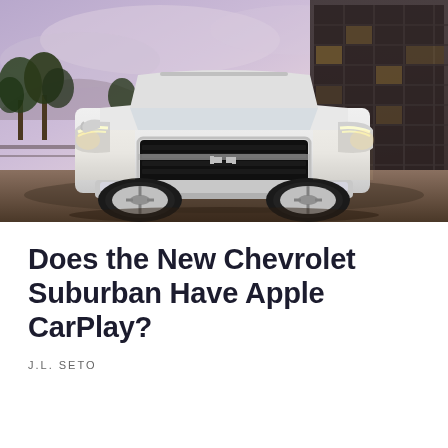[Figure (photo): A white Chevrolet Suburban SUV photographed from the front at dusk, parked in front of a glass-windowed building on the right. Trees are visible on the left, and the sky has warm purplish-pink tones.]
Does the New Chevrolet Suburban Have Apple CarPlay?
J.L. SETO